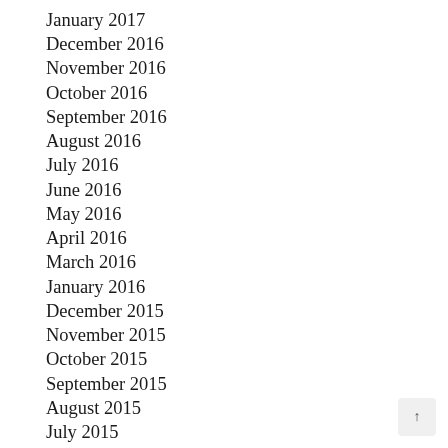January 2017
December 2016
November 2016
October 2016
September 2016
August 2016
July 2016
June 2016
May 2016
April 2016
March 2016
January 2016
December 2015
November 2015
October 2015
September 2015
August 2015
July 2015
March 2015